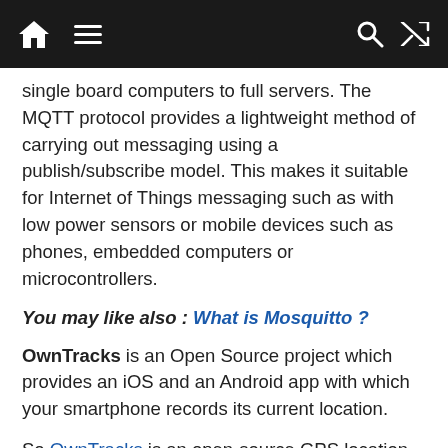Navigation bar with home, menu, search, and shuffle icons
single board computers to full servers. The MQTT protocol provides a lightweight method of carrying out messaging using a publish/subscribe model. This makes it suitable for Internet of Things messaging such as with low power sensors or mobile devices such as phones, embedded computers or microcontrollers.
You may also like : What is Mosquitto ?
OwnTracks is an Open Source project which provides an iOS and an Android app with which your smartphone records its current location.
So OwnTracks is an open-source GPS location history logging service (the main components are apps for iPhone and Android.) OwnTracks takes